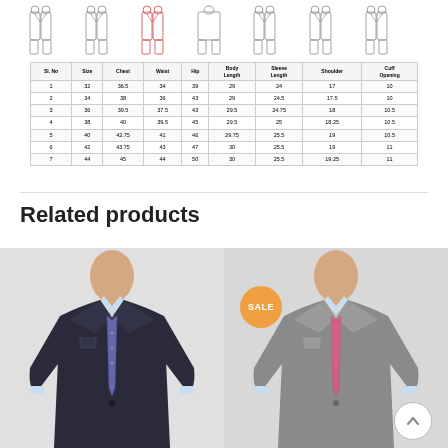[Figure (illustration): Row of 7 suit/blazer technical diagrams showing front and back views]
| Sl. No | Size | Chest | Waist | Hip | Body Length | Sleeve Length | Shoulder | Cuff Opening |
| --- | --- | --- | --- | --- | --- | --- | --- | --- |
| 1 | 32 | 36.5 | 34 | 39 | 29 | 24 | 17 | 10 |
| 2 | 34 | 38 | 36 | 43 | 29 | 24.5 | 17.5 | 10 |
| 3 | 36 | 39.5 | 37.5 | 43 | 29.5 | 24.75 | 18 | 10.5 |
| 4 | 38 | 40 | 39.5 | 45 | 29.5 | 25 | 18.25 | 10.5 |
| 5 | 40 | 42.75 | 41 | 46 | 29.75 | 25.5 | 19 | 10.5 |
| 6 | 42 | 43.75 | 43 | 47 | 30 | 25.5 | 19 | 11 |
| 7 | 44 | 45 | 44 | 50 | 30 | 25.5 | 19.25 | 11 |
Related products
[Figure (photo): Mannequin wearing dark navy blazer with patterned tie]
[Figure (photo): Mannequin wearing light grey blazer with pink tie, SALE badge]